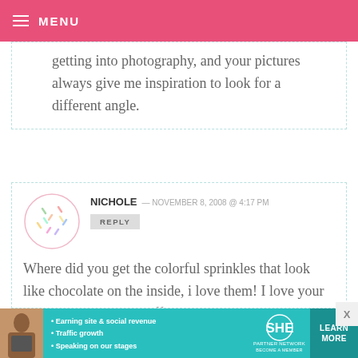MENU
getting into photography, and your pictures always give me inspiration to look for a different angle.
NICHOLE — NOVEMBER 8, 2008 @ 4:17 PM
REPLY
Where did you get the colorful sprinkles that look like chocolate on the inside, i love them! I love your site and i love your stuff, i totally put that spice rack on my Christmas list!! YOU
[Figure (infographic): SHE Partner Network advertisement banner with photo of a woman, bullet points listing Earning site & social revenue, Traffic growth, Speaking on our stages, SHE logo, and a Learn More button]